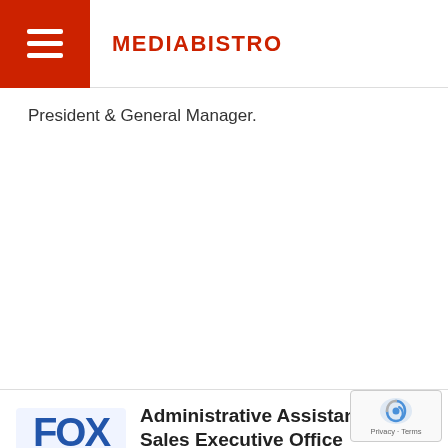MEDIABISTRO
President & General Manager.
Administrative Assistant, Ad Sales Executive Office
Fox Corporation - New York, NY USA
(about 1 month ago)
The Fox Ad Sales team is currently seeking a highly motivated Administrative Assistant who is ready to roll up their sleeves and add value quickly ...
Executive Assistant / Personal Assistant